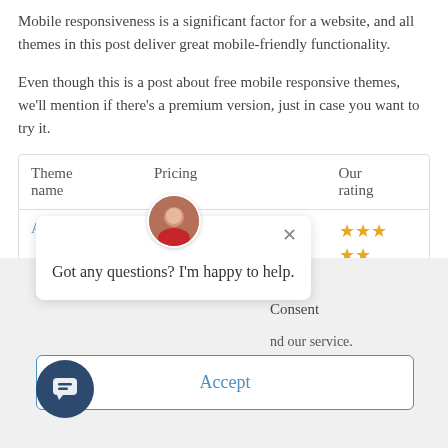Mobile responsiveness is a significant factor for a website, and all themes in this post deliver great mobile-friendly functionality.
Even though this is a post about free mobile responsive themes, we'll mention if there's a premium version, just in case you want to try it.
| Theme name | Pricing | Our rating |
| --- | --- | --- |
| Astra | Free / From $49 per year | ★★★ ★★ |
Consent
nd our service.
Got any questions? I'm happy to help.
Accept